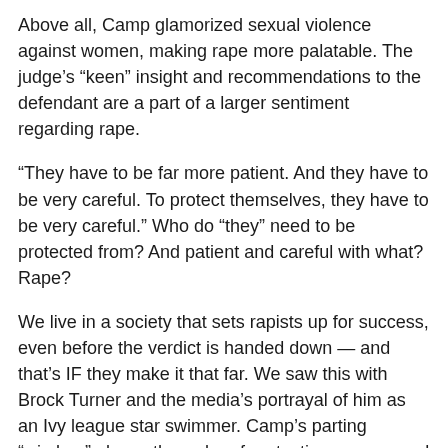Above all, Camp glamorized sexual violence against women, making rape more palatable. The judge's “keen” insight and recommendations to the defendant are a part of a larger sentiment regarding rape.
“They have to be far more patient. And they have to be very careful. To protect themselves, they have to be very careful.” Who do “they” need to be protected from? And patient and careful with what? Rape?
We live in a society that sets rapists up for success, even before the verdict is handed down — and that’s IF they make it that far. We saw this with Brock Turner and the media’s portrayal of him as an Ivy league star swimmer. Camp’s parting “wisdom” places the order of protection on men and those who “magically” find themselves raping a woman.
Luckily, the verdict was overturned and a new trial date is set for November, but this isn’t always the case. Victim blaming is a legal tactic that has led to acquittals and lighter